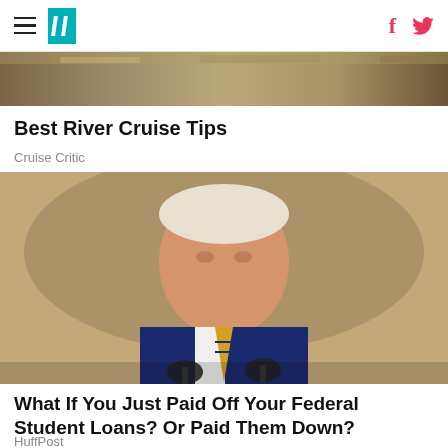HuffPost navigation with hamburger menu, logo, Facebook and Twitter icons
[Figure (photo): Top portion of a cruise/travel image, partially cropped]
Best River Cruise Tips
Cruise Critic
[Figure (photo): President Joe Biden speaking at a podium with microphones, wearing a blue suit and gold/blue striped tie, in front of a decorative background]
What If You Just Paid Off Your Federal Student Loans? Or Paid Them Down?
HuffPost
[Figure (photo): Bottom portion of another article image, partially cropped, showing a person against a blue background]